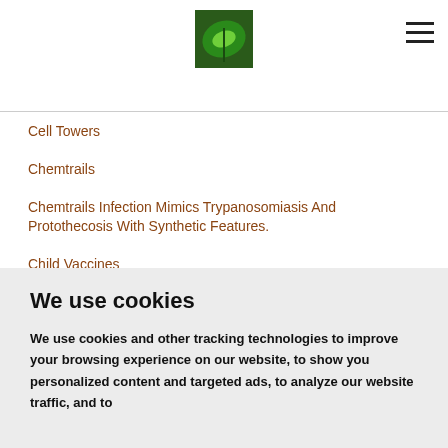[Figure (logo): Green leaf logo image centered in the header]
Cell Towers
Chemtrails
Chemtrails Infection Mimics Trypanosomiasis And Protothecosis With Synthetic Features.
Child Vaccines
CHLORINE DIOXIDE
Choking And Blocking Nanobots
Cold Pressed Coconut Oil Uses
We use cookies
We use cookies and other tracking technologies to improve your browsing experience on our website, to show you personalized content and targeted ads, to analyze our website traffic, and to